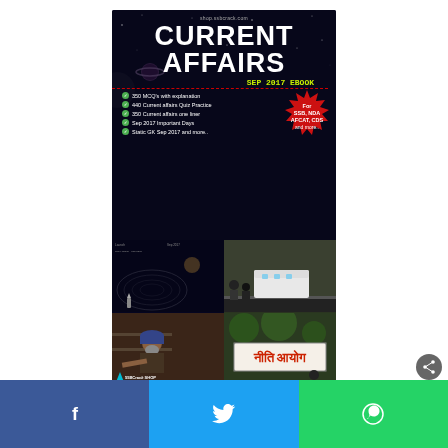[Figure (illustration): Book cover for Current Affairs Sep 2017 eBook by SSBCrack Shop, featuring dark space background, title text, feature bullet points, a red badge for SSB/NDA/AFCAT/CDS, and four photo panels (space mission, train, person, Niti Aayog sign)]
[Figure (infographic): Social media share bar at the bottom with Facebook (blue), Twitter (light blue), and WhatsApp (green) icons]